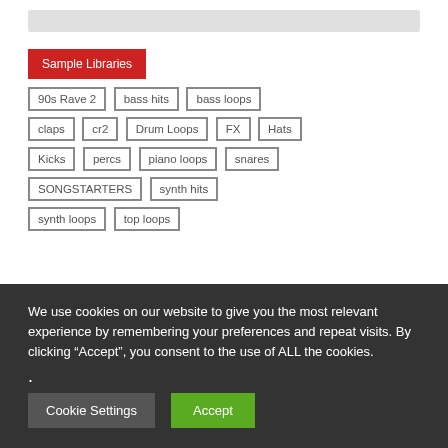Sample Libraries
90s Rave 2
bass hits
bass loops
claps
cr2
Drum Loops
FX
Hats
Kicks
percs
piano loops
snares
SONGSTARTERS
synth hits
synth loops
top loops
We use cookies on our website to give you the most relevant experience by remembering your preferences and repeat visits. By clicking “Accept”, you consent to the use of ALL the cookies.
Cookie Settings
Accept